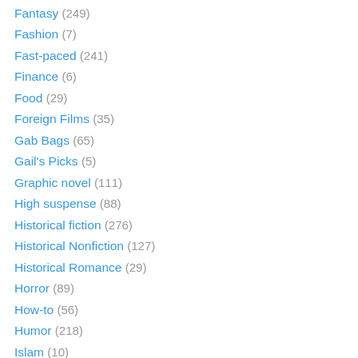Fantasy (249)
Fashion (7)
Fast-paced (241)
Finance (6)
Food (29)
Foreign Films (35)
Gab Bags (65)
Gail's Picks (5)
Graphic novel (111)
High suspense (88)
Historical fiction (276)
Historical Nonfiction (127)
Historical Romance (29)
Horror (89)
How-to (56)
Humor (218)
Islam (10)
Jan's Picks (114)
Janet Cr's Picks (7)
Janet's picks (5)